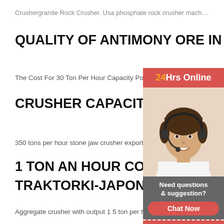Crushergranite Rock Crusher. Usa phosphate rock crusher mach…
QUALITY OF ANTIMONY ORE IN CHINA
The Cost For 30 Ton Per Hour Capacity Portable Stone Crusher
CRUSHER CAPACITY OF 250 TON
350 tons per hour stone jaw crusher exportersmin
1 TON AN HOUR CONE CRUSHER TRAKTORKI-JAPONSKIE.WAW.PL
Aggregate crusher with output 1 5 ton per hour. If
[Figure (photo): Advertisement panel with red background showing a woman wearing a headset. Top section has '24Hrs Online' text in white with orange '24'. Middle shows a smiling woman with a headset. Bottom gray section has 'Need questions & suggestion?' text, a red 'Chat Now' button, a red 'Enquiry' section with dashed borders, and a red footer with 'limingjlmofen' text.]